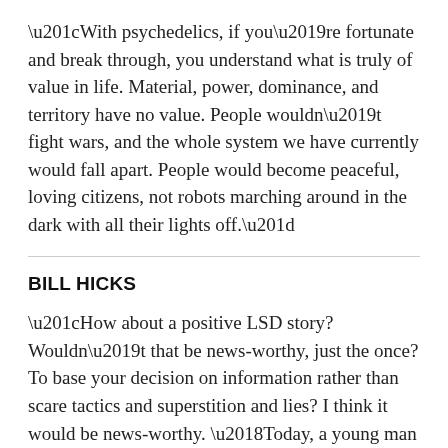“With psychedelics, if you’re fortunate and break through, you understand what is truly of value in life. Material, power, dominance, and territory have no value. People wouldn’t fight wars, and the whole system we have currently would fall apart. People would become peaceful, loving citizens, not robots marching around in the dark with all their lights off.”
BILL HICKS
“How about a positive LSD story? Wouldn’t that be news-worthy, just the once? To base your decision on information rather than scare tactics and superstition and lies? I think it would be news-worthy. ‘Today, a young man on acid realized that all matter is merely energy condensed to a slow vibration. That we are all